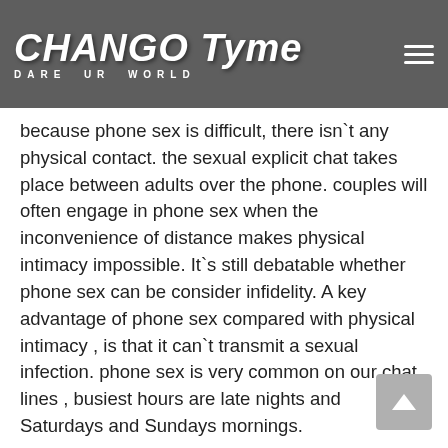CHANGO Tyme DARE UR WORLD
because phone sex is difficult, there isn't any physical contact. the sexual explicit chat takes place between adults over the phone. couples will often engage in phone sex when the inconvenience of distance makes physical intimacy impossible. It's still debatable whether phone sex can be consider infidelity. A key advantage of phone sex compared with physical intimacy , is that it can't transmit a sexual infection. phone sex is very common on our chat lines , busiest hours are late nights and Saturdays and Sundays mornings.
Top Chat Line #'s
For Sissy Only Sissy Boys (610) 422-2020
Any Time Phone Sex ((800) 288-5243
Gay Men Chat Make New Friends (310) 582-5841